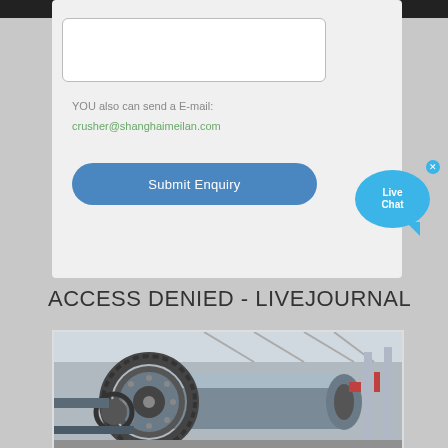YOU also can send a E-mail:
crusher@shanghaimeilan.com
Submit Enquiry
ACCESS DENIED - LIVEJOURNAL
[Figure (photo): Industrial ball mill machine with large gear ring, cylindrical drum, and drive mechanism, photographed in a factory/warehouse setting]